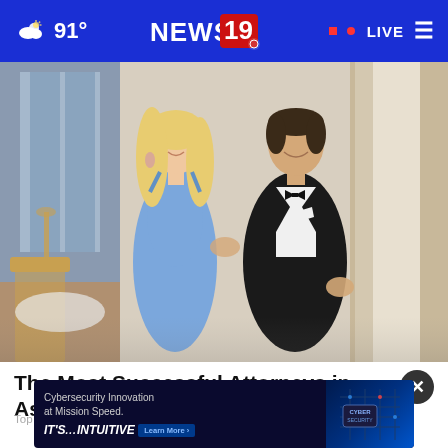91° NEWS 19 · LIVE
[Figure (photo): A couple posing at a formal event. A woman with long blonde hair wearing a blue spaghetti-strap dress and a man in a black tuxedo with a bow tie, standing in front of a white column. Indoor banquet setting.]
The Most Successful Attorneys in Ashburn - See the List
Top Attorney | Sponsored Links
[Figure (screenshot): Advertisement banner: Cybersecurity Innovation at Mission Speed. IT'S...INTUITIVE Learn More button. Dark blue background with circuit board imagery and a CYBER badge on the right.]